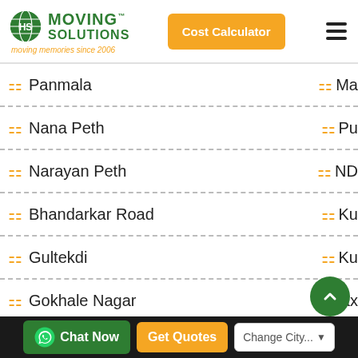[Figure (logo): Moving Solutions logo with globe icon, green text, TM mark, and orange tagline 'moving memories since 2006']
Panmala
Nana Peth
Narayan Peth
Bhandarkar Road
Gultekdi
Gokhale Nagar
Shivtirth Nagar
Talawade
Sutarwadi
Chat Now | Get Quotes | Change City...